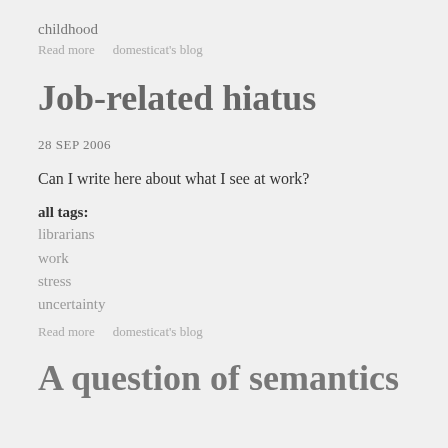childhood
Read more   domesticat's blog
Job-related hiatus
28 SEP 2006
Can I write here about what I see at work?
all tags:
librarians
work
stress
uncertainty
Read more   domesticat's blog
A question of semantics